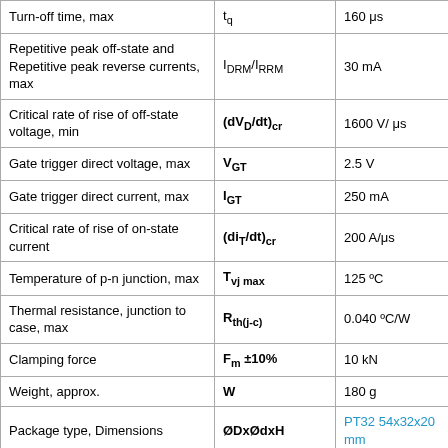| Parameter | Symbol | Value |
| --- | --- | --- |
| Turn-off time, max | tq | 160 μs |
| Repetitive peak off-state and Repetitive peak reverse currents, max | IDRM/IRRM | 30 mA |
| Critical rate of rise of off-state voltage, min | (dVD/dt)cr | 1600 V/μs |
| Gate trigger direct voltage, max | VGT | 2.5 V |
| Gate trigger direct current, max | IGT | 250 mA |
| Critical rate of rise of on-state current | (diT/dt)cr | 200 A/μs |
| Temperature of p-n junction, max | Tvj max | 125 ºC |
| Thermal resistance, junction to case, max | Rth(j-c) | 0.040 ºC/W |
| Clamping force | Fm ±10% | 10 kN |
| Weight, approx. | W | 180 g |
| Package type, Dimensions | ØDxØdxH | PT32 54x32x20 mm |
| Recommended heatsinks | Heatsinks | O143, O243, O343, OM103, OM104 |